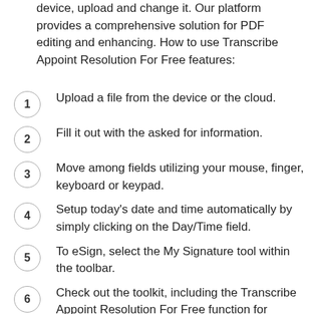device, upload and change it. Our platform provides a comprehensive solution for PDF editing and enhancing. How to use Transcribe Appoint Resolution For Free features:
Upload a file from the device or the cloud.
Fill it out with the asked for information.
Move among fields utilizing your mouse, finger, keyboard or keypad.
Setup today's date and time automatically by simply clicking on the Day/Time field.
To eSign, select the My Signature tool within the toolbar.
Check out the toolkit, including the Transcribe Appoint Resolution For Free function for changing and managing PDFs online.
Save the changes and access your PDF from your